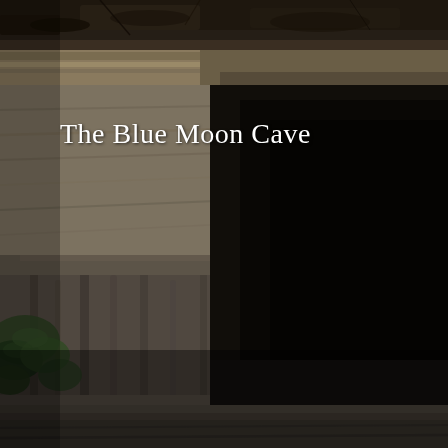[Figure (photo): Photograph of a cave entrance with layered limestone rock formations. The cave opening is dark, showing deep shadow inside. The surrounding rock face displays horizontal sedimentary layers. Some green foliage is visible at the lower left edge. The top of the image shows leaf litter and soil above the rock overhang.]
The Blue Moon Cave